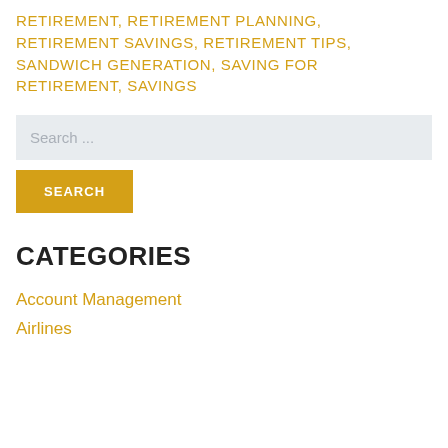RETIREMENT, RETIREMENT PLANNING, RETIREMENT SAVINGS, RETIREMENT TIPS, SANDWICH GENERATION, SAVING FOR RETIREMENT, SAVINGS
Search ...
SEARCH
CATEGORIES
Account Management
Airlines